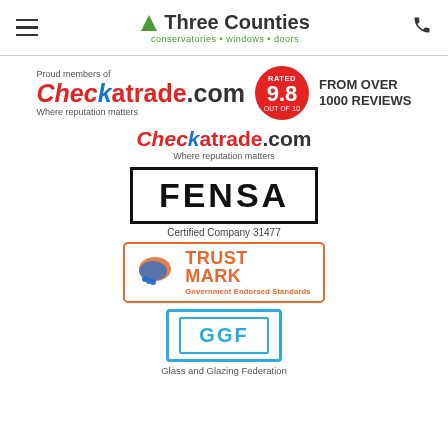Three Counties conservatories • windows • doors
[Figure (logo): Checkatrade.com logo with 'Proud members of' text, red badge showing 9.8 out of 10, and 'FROM OVER 1000 REVIEWS' text]
[Figure (logo): Checkatrade.com logo with tagline 'Where reputation matters']
[Figure (logo): FENSA logo in bold black text inside a rectangular border]
Certified Company 31477
[Figure (logo): TrustMark Government Endorsed Standards logo with handshake icon]
[Figure (logo): GGF Glass and Glazing Federation logo in blue]
Glass and Glazing Federation